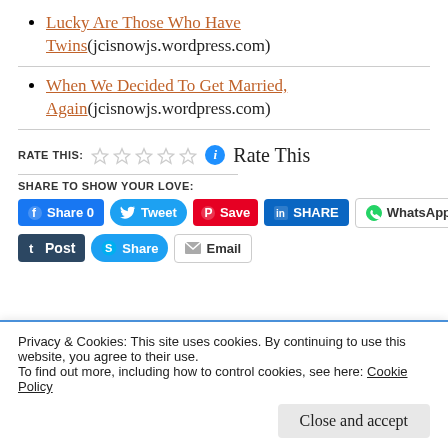Lucky Are Those Who Have Twins (jcisnowjs.wordpress.com)
When We Decided To Get Married, Again (jcisnowjs.wordpress.com)
RATE THIS: ☆☆☆☆☆ ℹ Rate This
SHARE TO SHOW YOUR LOVE:
Share 0 | Tweet | Save | SHARE | WhatsApp | Post | Share | Email
Privacy & Cookies: This site uses cookies. By continuing to use this website, you agree to their use.
To find out more, including how to control cookies, see here: Cookie Policy
Close and accept